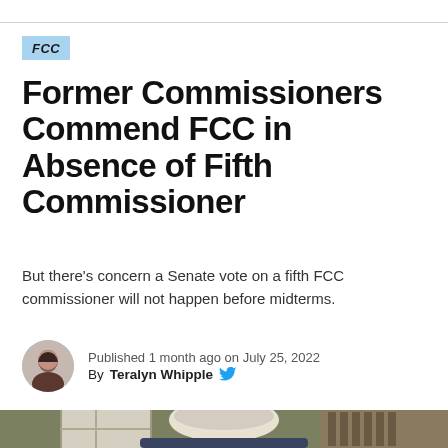FCC
Former Commissioners Commend FCC in Absence of Fifth Commissioner
But there's concern a Senate vote on a fifth FCC commissioner will not happen before midterms.
Published 1 month ago on July 25, 2022
By Teralyn Whipple
[Figure (photo): A person with white/grey hair visible from behind, seated indoors in what appears to be a home office or living room setting, with white cabinets and a staircase visible in the background.]